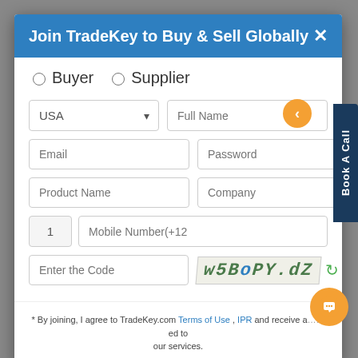Join TradeKey to Buy & Sell Globally
Buyer  Supplier
[Figure (screenshot): Web registration form with fields: country selector (USA), Full Name, Email, Password, Product Name, Company, Mobile Number with country code (1), Enter the Code (captcha), and captcha image showing distorted text w5B0oPY.dZ with refresh icon]
* By joining, I agree to TradeKey.com Terms of Use , IPR and receive a... to our services.